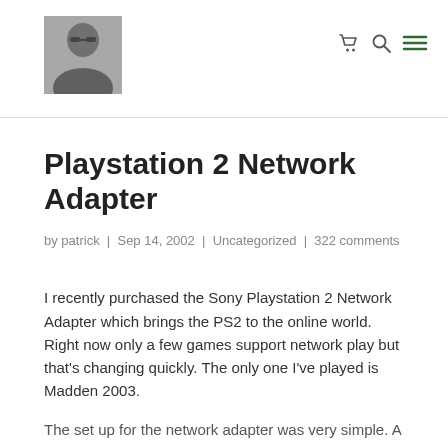[site logo / portrait photo] [cart icon] [search icon] [menu icon]
Playstation 2 Network Adapter
by patrick | Sep 14, 2002 | Uncategorized | 322 comments
I recently purchased the Sony Playstation 2 Network Adapter which brings the PS2 to the online world. Right now only a few games support network play but that's changing quickly. The only one I've played is Madden 2003.
The set up for the network adapter was very simple. A